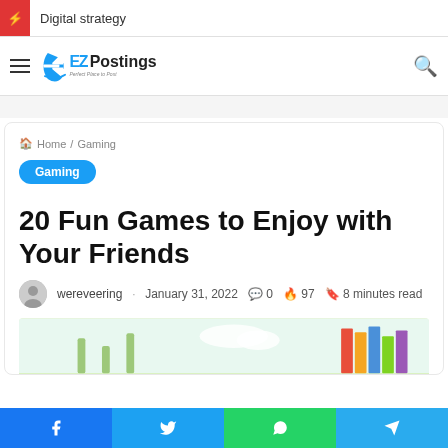Digital strategy
[Figure (logo): EZPostings logo with tagline 'Perfect Place to Post']
Home / Gaming
Gaming
20 Fun Games to Enjoy with Your Friends
wereveering · January 31, 2022  0  97  8 minutes read
[Figure (illustration): Cartoon illustration of books and gaming items]
[Figure (infographic): Social share bar with Facebook, Twitter, WhatsApp, Telegram buttons]